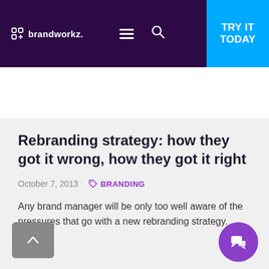brandworkz. | TRY IT TODAY
Rebranding strategy: how they got it wrong, how they got it right
October 7, 2013    BRANDING
Any brand manager will be only too well aware of the pressures that go with a new rebranding strategy. But...